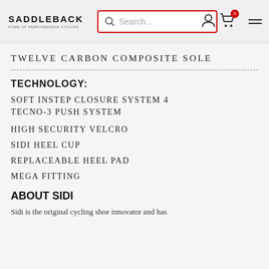SADDLEBACK HOME OF PERFORMANCE CYCLING | Search... | [cart] [account] [menu]
TWELVE CARBON COMPOSITE SOLE
TECHNOLOGY:
SOFT INSTEP CLOSURE SYSTEM 4
TECNO-3 PUSH SYSTEM
HIGH SECURITY VELCRO
SIDI HEEL CUP
REPLACEABLE HEEL PAD
MEGA FITTING
ABOUT SIDI
Sidi is the original cycling shoe innovator and has